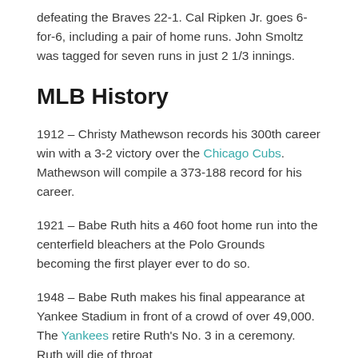defeating the Braves 22-1. Cal Ripken Jr. goes 6-for-6, including a pair of home runs. John Smoltz was tagged for seven runs in just 2 1/3 innings.
MLB History
1912 – Christy Mathewson records his 300th career win with a 3-2 victory over the Chicago Cubs. Mathewson will compile a 373-188 record for his career.
1921 – Babe Ruth hits a 460 foot home run into the centerfield bleachers at the Polo Grounds becoming the first player ever to do so.
1948 – Babe Ruth makes his final appearance at Yankee Stadium in front of a crowd of over 49,000. The Yankees retire Ruth's No. 3 in a ceremony. Ruth will die of throat